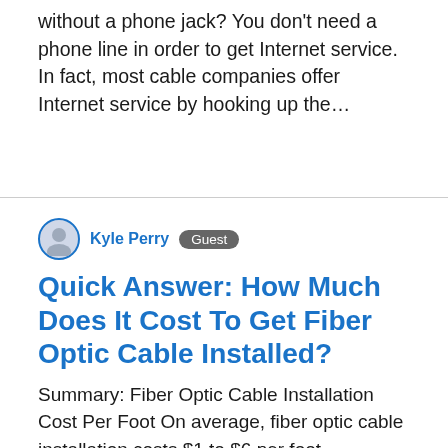without a phone jack? You don't need a phone line in order to get Internet service. In fact, most cable companies offer Internet service by hooking up the…
Kyle Perry  Guest
Quick Answer: How Much Does It Cost To Get Fiber Optic Cable Installed?
Summary: Fiber Optic Cable Installation Cost Per Foot On average, fiber optic cable installation costs $1 to $6 per foot depending on the fiber count.It's very difficult to estimate an exact price for an entire building to be wired, however an example would be $15,000 to $30,000 for a building with 100 to 200 drops. How much does it